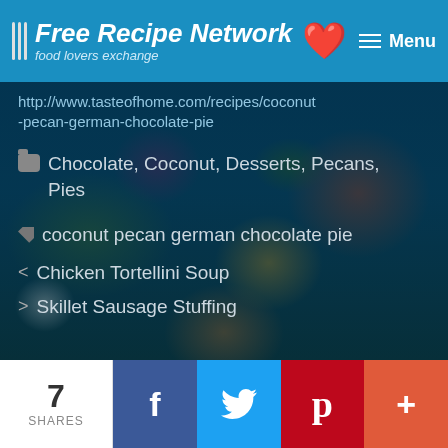Free Recipe Network | food lovers exchange | Menu
http://www.tasteofhome.com/recipes/coconut-pecan-german-chocolate-pie
Chocolate, Coconut, Desserts, Pecans, Pies
coconut pecan german chocolate pie
< Chicken Tortellini Soup
> Skillet Sausage Stuffing
Leave a comment
7 SHARES | f | t | p | +